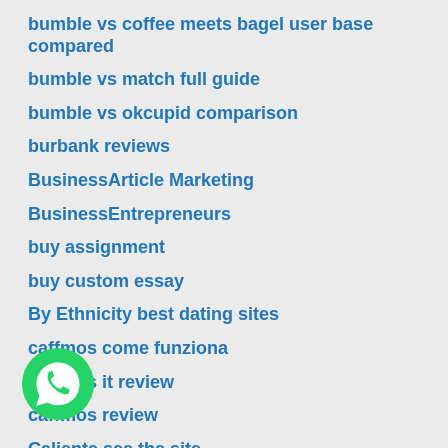bumble vs coffee meets bagel user base compared
bumble vs match full guide
bumble vs okcupid comparison
burbank reviews
BusinessArticle Marketing
BusinessEntrepreneurs
buy assignment
buy custom essay
By Ethnicity best dating sites
caffmos come funziona
caffmos it review
caffmos review
Caliente see the site
go try here
Cams4 KO XXX Chat Rooms
[Figure (logo): WhatsApp logo - green circular icon with white phone handset]